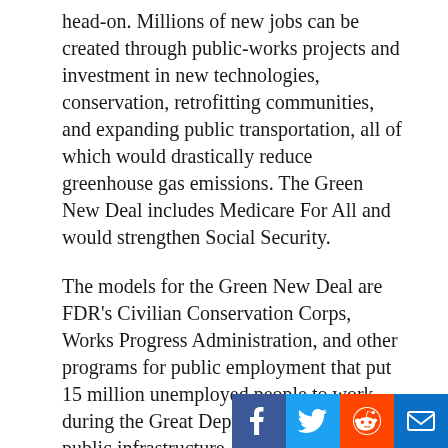head-on. Millions of new jobs can be created through public-works projects and investment in new technologies, conservation, retrofitting communities, and expanding public transportation, all of which would drastically reduce greenhouse gas emissions. The Green New Deal includes Medicare For All and would strengthen Social Security.
The models for the Green New Deal are FDR's Civilian Conservation Corps, Works Progress Administration, and other programs for public employment that put 15 million unemployed people to work during the Great Depression building public infrastructure, restoring soils and forests, and providing services like adult literacy education and cultural projects, including murals, music, theater, and historical documentation.
Greens insist that cutting at least $300 billion per year from military spending would free up no to o
[Figure (other): Social media share buttons: Facebook, Twitter, Reddit, Email]